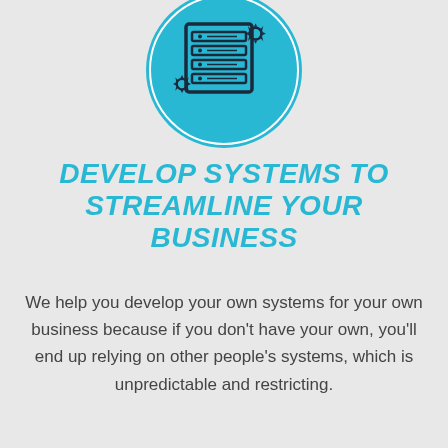[Figure (illustration): Cyan/teal circle with a server rack and gear icons drawn in dark outline style, representing IT systems.]
DEVELOP SYSTEMS TO STREAMLINE YOUR BUSINESS
We help you develop your own systems for your own business because if you don't have your own, you'll end up relying on other people's systems, which is unpredictable and restricting.